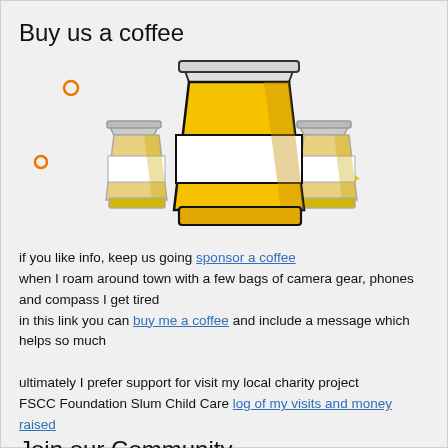Buy us a coffee
[Figure (illustration): Three stacked takeaway coffee cups illustration. A large cup in the center-front with a white sleeve and yellow/amber body, flanked by two smaller similar cups on left and right. Small decorative orange circle top-left, small orange circle mid-left, small yellow star mid-right.]
if you like info, keep us going sponsor a coffee
when I roam around town with a few bags of camera gear, phones and compass I get tired
in this link you can buy me a coffee and include a message which helps so much

ultimately I prefer support for visit my local charity project
FSCC Foundation Slum Child Care log of my visits and money raised
Join our Community